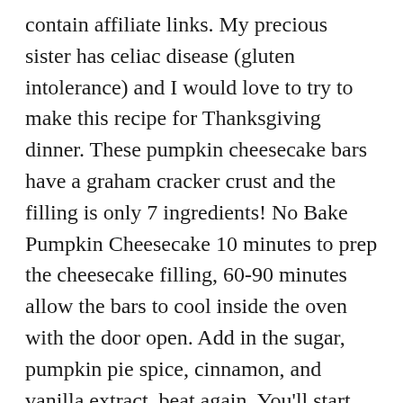contain affiliate links. My precious sister has celiac disease (gluten intolerance) and I would love to try to make this recipe for Thanksgiving dinner. These pumpkin cheesecake bars have a graham cracker crust and the filling is only 7 ingredients! No Bake Pumpkin Cheesecake 10 minutes to prep the cheesecake filling, 60-90 minutes allow the bars to cool inside the oven with the door open. Add in the sugar, pumpkin pie spice, cinnamon, and vanilla extract, beat again. You'll start with a simple Ginger Snap Cookie Crust pressed into the bottom of a 9 x 13″ pan. Smooth, creamy, and delicious! If you love super creamy cheesecake, and delicious pumpkin desserts – then these pumpkin cheesecake bars are definitely for you. They